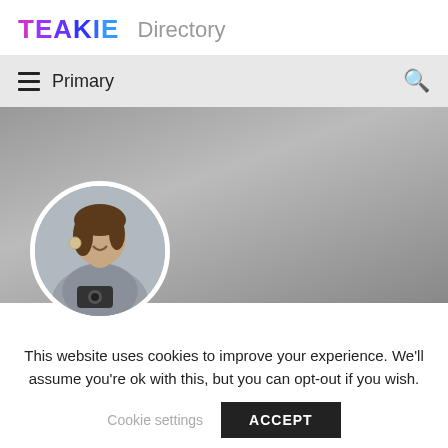TEAKIE Directory
≡  Primary
[Figure (photo): Hero banner with gradient grey background and circular profile photo of a woman holding a camera, smiling, wearing a grey tank top and large earrings]
This website uses cookies to improve your experience. We'll assume you're ok with this, but you can opt-out if you wish.
Cookie settings   ACCEPT